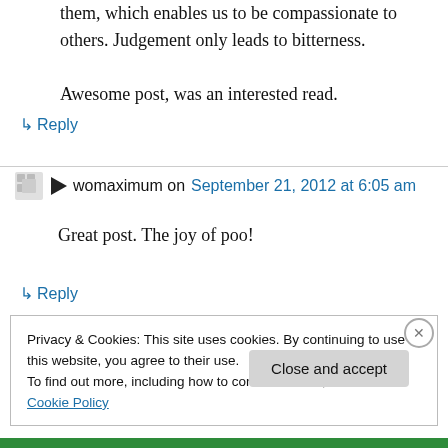them, which enables us to be compassionate to others. Judgement only leads to bitterness.

Awesome post, was an interested read.
↳ Reply
womaximum on September 21, 2012 at 6:05 am
Great post. The joy of poo!
↳ Reply
Privacy & Cookies: This site uses cookies. By continuing to use this website, you agree to their use.
To find out more, including how to control cookies, see here: Cookie Policy
Close and accept